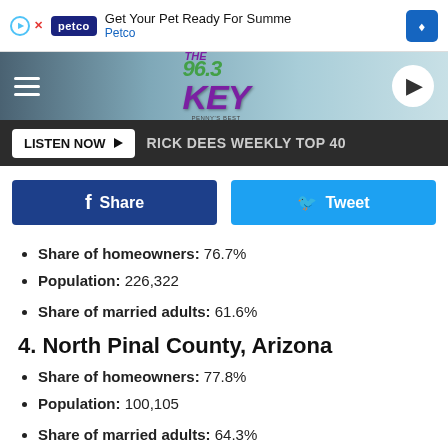[Figure (screenshot): Petco advertisement banner: 'Get Your Pet Ready For Summer' with Petco logo and navigation arrow]
[Figure (logo): The 96.3 Key radio station logo with navigation hamburger menu and play button]
LISTEN NOW ▶  RICK DEES WEEKLY TOP 40
[Figure (screenshot): Facebook Share button and Twitter Tweet button]
Share of homeowners: 76.7%
Population: 226,322
Share of married adults: 61.6%
4. North Pinal County, Arizona
Share of homeowners: 77.8%
Population: 100,105
Share of married adults: 64.3%